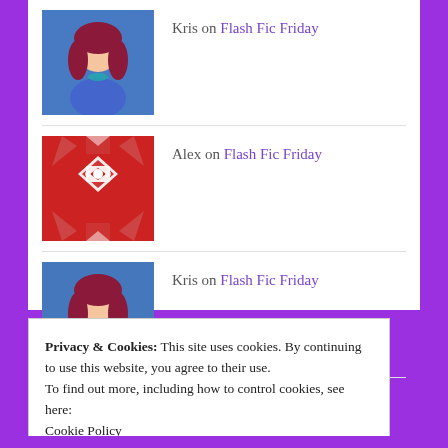Kris on Flash Fic Friday
Alex on Flash Fic Friday
Kris on Flash Fic Friday
ivansfanfiction on Flash Fic Friday
Kris on Flash Fic Friday
Privacy & Cookies: This site uses cookies. By continuing to use this website, you agree to their use.
To find out more, including how to control cookies, see here:
Cookie Policy
Close and accept